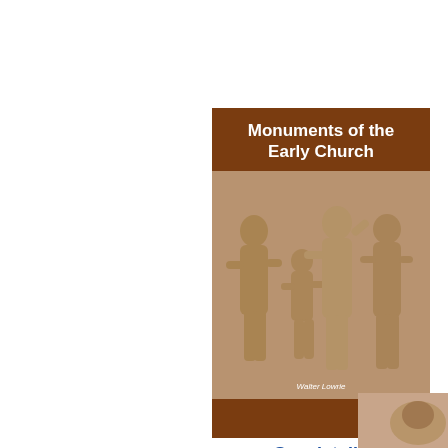[Figure (photo): Book cover for 'Monuments of the Early Church' showing a brown header with white bold title text and a relief sculpture photograph depicting several figures, with author name at bottom.]
See details
E. A. Wallis Budge